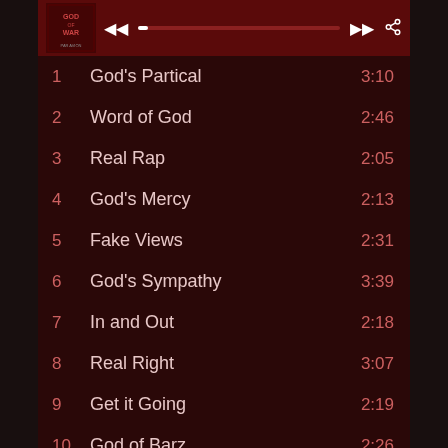[Figure (screenshot): Music player header with album art for 'God of War' album, playback controls (previous, progress bar, next), and share icon on dark red background]
1  God's Partical  3:10
2  Word of God  2:46
3  Real Rap  2:05
4  God's Mercy  2:13
5  Fake Views  2:31
6  God's Sympathy  3:39
7  In and Out  2:18
8  Real Right  3:07
9  Get it Going  2:19
10  God of Barz  2:26
11  The Rebel  2:44